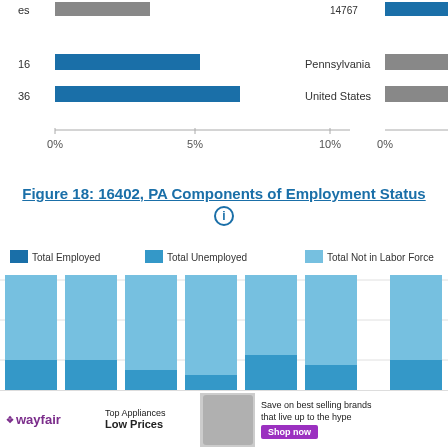[Figure (bar-chart): Partial horizontal bar chart showing age group rows including 16 and 36 on left, and Pennsylvania, United States on right, with 0%-5%-10% axes]
Figure 18: 16402, PA Components of Employment Status
[Figure (stacked-bar-chart): Stacked bar chart showing Total Employed (dark blue), Total Unemployed (medium blue), Total Not in Labor Force (light blue) across multiple year columns]
[Figure (other): Wayfair advertisement: Top Appliances Low Prices, Save on best selling brands that live up to the hype, Shop now]